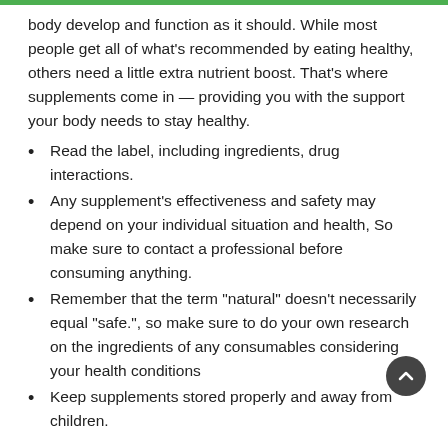body develop and function as it should. While most people get all of what's recommended by eating healthy, others need a little extra nutrient boost. That's where supplements come in — providing you with the support your body needs to stay healthy.
Read the label, including ingredients, drug interactions.
Any supplement's effectiveness and safety may depend on your individual situation and health, So make sure to contact a professional before consuming anything.
Remember that the term "natural" doesn't necessarily equal "safe.", so make sure to do your own research on the ingredients of any consumables considering your health conditions
Keep supplements stored properly and away from children.
Disclaimer